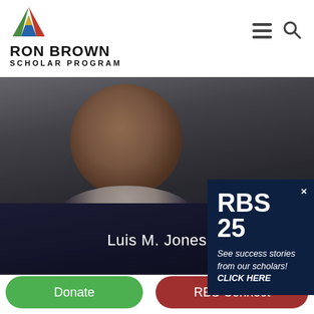[Figure (logo): Ron Brown Scholar Program logo with colorful triangle/arrow icon above the text RON BROWN SCHOLAR PROGRAM]
[Figure (photo): Portrait photo of Luis M. Jones, a Black man in a dark blazer and white shirt, smiling, with the name 'Luis M. Jones' overlaid in white text]
[Figure (infographic): RBS 25 popup overlay in dark navy blue with text: RBS 25 / See success stories from our scholars! CLICK HERE, with an X close button]
Donate
RBS Connect